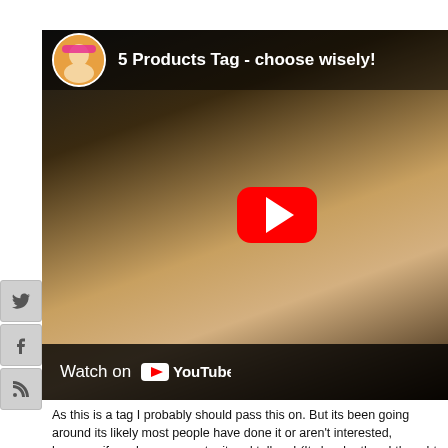[Figure (screenshot): YouTube embedded video thumbnail showing a blonde woman wearing a brown leopard-print hat. The video title reads '5 Products Tag - choose wisely!' with a channel avatar in the top left. A red YouTube play button is centered on the thumbnail. At the bottom is a 'Watch on YouTube' bar.]
As this is a tag I probably should pass this on. But its been going around its likely most people have done it or aren't interested, however if you ha sure you try it and tell me! (Its harder than I thought to only pick 5 produ